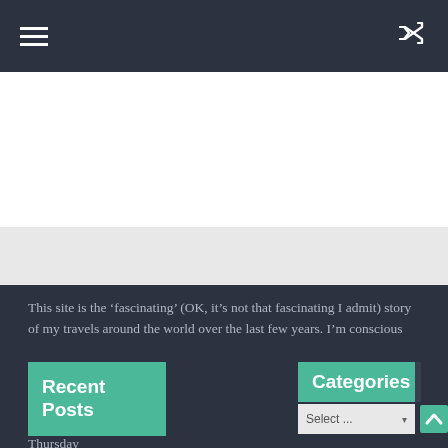≡  ⇆
This site is the ‘fascinating’ (OK, it’s not that fascinating I admit) story of my travels around the world over the last few years. I’m conscious that there is so much more to visit, and I’ll do my best to carry on travelling as much as I can. I wouldn’t take anything too seriously, because I’ve rarely managed to.....
For previous adventures, here’s 2013-2018 and also 2019.
Recent Posts
Categories
Select...
Thursday